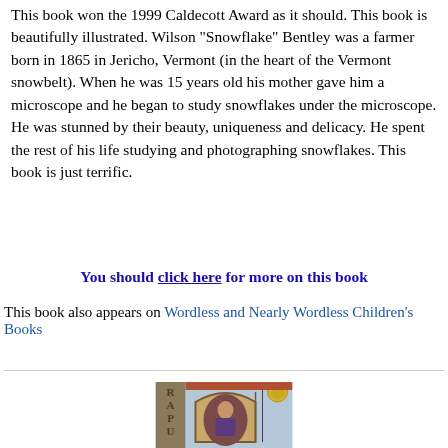This book won the 1999 Caldecott Award as it should. This book is beautifully illustrated. Wilson "Snowflake" Bentley was a farmer born in 1865 in Jericho, Vermont (in the heart of the Vermont snowbelt). When he was 15 years old his mother gave him a microscope and he began to study snowflakes under the microscope. He was stunned by their beauty, uniqueness and delicacy. He spent the rest of his life studying and photographing snowflakes. This book is just terrific.
You should click here for more on this book
This book also appears on Wordless and Nearly Wordless Children's Books
[Figure (illustration): Partial view of a book cover showing a figure of a woman inside an arched decorative border with the letters R, A, P, U visible on the left side, in a medieval illuminated manuscript style with blue and red tones and a gold medallion in the upper right.]